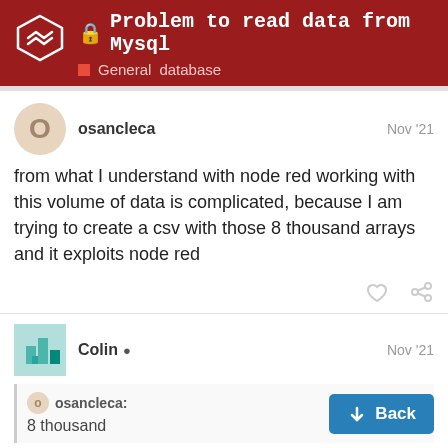Problem to read data from Mysql — General database
osancleca Nov '21
from what I understand with node red working with this volume of data is complicated, because I am trying to create a csv with those 8 thousand arrays and it exploits node red
Colin Nov '21
osancleca:
8 thousand
8 Million (8,000,000)